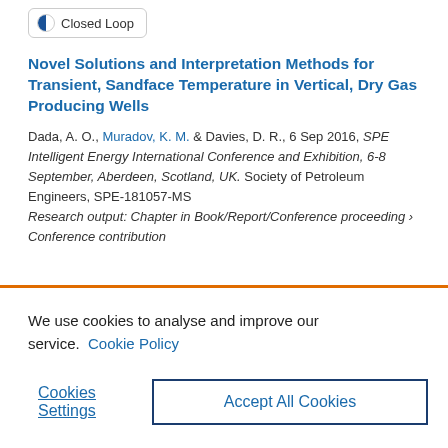Closed Loop
Novel Solutions and Interpretation Methods for Transient, Sandface Temperature in Vertical, Dry Gas Producing Wells
Dada, A. O., Muradov, K. M. & Davies, D. R., 6 Sep 2016, SPE Intelligent Energy International Conference and Exhibition, 6-8 September, Aberdeen, Scotland, UK. Society of Petroleum Engineers, SPE-181057-MS
Research output: Chapter in Book/Report/Conference proceeding › Conference contribution
We use cookies to analyse and improve our service. Cookie Policy
Cookies Settings
Accept All Cookies